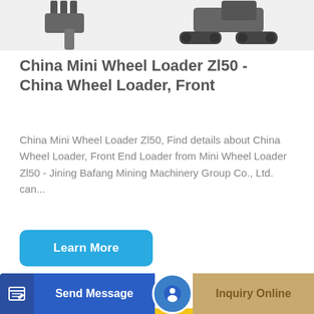[Figure (photo): Top portion of page showing partial images of construction equipment — a mini excavator bucket/arm on the left and a tracked excavator on the right, on white background]
China Mini Wheel Loader Zl50 - China Wheel Loader, Front
China Mini Wheel Loader Zl50, Find details about China Wheel Loader, Front End Loader from Mini Wheel Loader Zl50 - Jining Bafang Mining Machinery Group Co., Ltd. can...
Learn More
[Figure (photo): Bottom portion showing a large yellow Volvo wheel loader with orange safety railing, partially visible, on white background]
Send Message
Inquiry Online